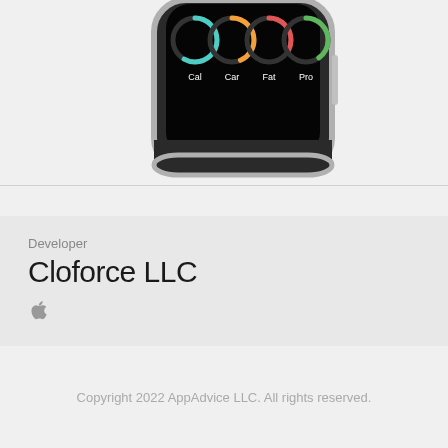[Figure (screenshot): Bottom portion of an Apple Watch displaying circular nutrition tracking rings labeled Cal, Car, Fat, Pro on a black screen, shown in a silver watch case]
Developer
Cloforce LLC
[Figure (logo): Apple logo icon in grey]
Copyright 2022 AppAdvice LLC. All rights reserved.